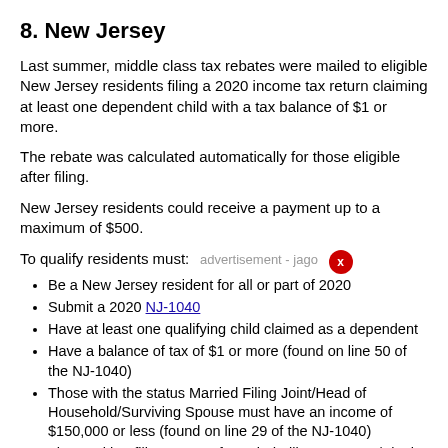8. New Jersey
Last summer, middle class tax rebates were mailed to eligible New Jersey residents filing a 2020 income tax return claiming at least one dependent child with a tax balance of $1 or more.
The rebate was calculated automatically for those eligible after filing.
New Jersey residents could receive a payment up to a maximum of $500.
To qualify residents must:
Be a New Jersey resident for all or part of 2020
Submit a 2020 NJ-1040
Have at least one qualifying child claimed as a dependent
Have a balance of tax of $1 or more (found on line 50 of the NJ-1040)
Those with the status Married Filing Joint/Head of Household/Surviving Spouse must have an income of $150,000 or less (found on line 29 of the NJ-1040)
Those with a filing status of Married Filing Separate/Single must have an income of $75,000 or less